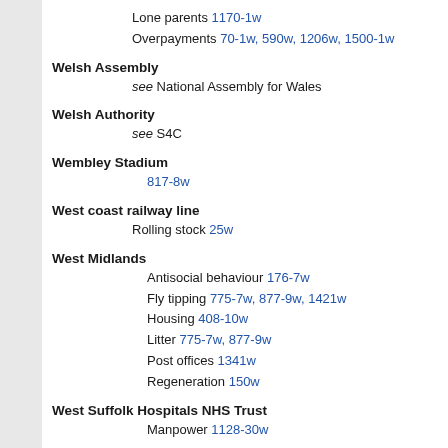Lone parents 1170-1w
Overpayments 70-1w, 590w, 1206w, 1500-1w
Welsh Assembly
see National Assembly for Wales
Welsh Authority
see S4C
Wembley Stadium
817-8w
West coast railway line
Rolling stock 25w
West Midlands
Antisocial behaviour 176-7w
Fly tipping 775-7w, 877-9w, 1421w
Housing 408-10w
Litter 775-7w, 877-9w
Post offices 1341w
Regeneration 150w
West Suffolk Hospitals NHS Trust
Manpower 1128-30w